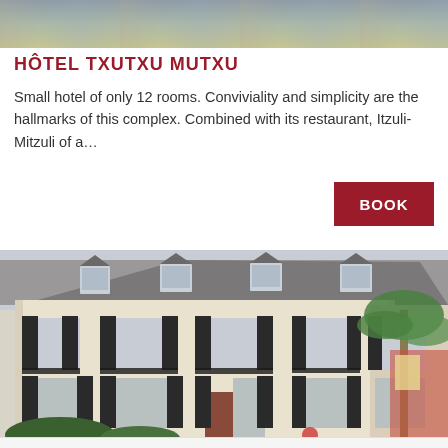[Figure (photo): Top portion of a hotel exterior or outdoor seating area photo, cropped at top of page]
HÔTEL TXUTXU MUTXU
Small hotel of only 12 rooms. Conviviality and simplicity are the hallmarks of this complex. Combined with its restaurant, Itzuli-Mitzuli of a…
[Figure (other): BOOK button — dark red rectangular button with white text]
[Figure (photo): Exterior photo of Hôtel Txutxu Mutxu building: a cream-colored multi-story French-style hotel with dark shutters, wrought-iron balconies, dormer windows, and palm trees visible to the right]